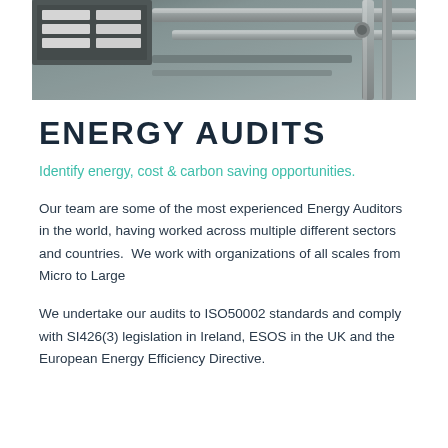[Figure (photo): Overhead/aerial photograph of industrial equipment including pipes, conduits, and electrical panels or junction boxes viewed from above]
ENERGY AUDITS
Identify energy, cost & carbon saving opportunities.
Our team are some of the most experienced Energy Auditors in the world, having worked across multiple different sectors and countries.  We work with organizations of all scales from Micro to Large
We undertake our audits to ISO50002 standards and comply with SI426(3) legislation in Ireland, ESOS in the UK and the European Energy Efficiency Directive.